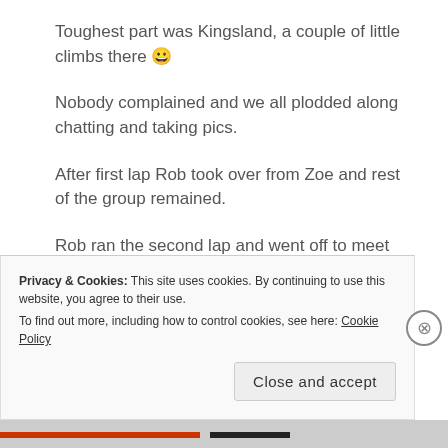Toughest part was Kingsland, a couple of little climbs there 😀
Nobody complained and we all plodded along chatting and taking pics.
After first lap Rob took over from Zoe and rest of the group remained.
Rob ran the second lap and went off to meet Zoe, also Annabel went to parkrun for marshalling duties.
Privacy & Cookies: This site uses cookies. By continuing to use this website, you agree to their use.
To find out more, including how to control cookies, see here: Cookie Policy
Close and accept